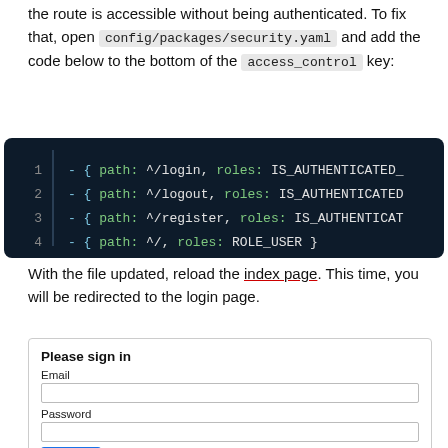the route is accessible without being authenticated. To fix that, open config/packages/security.yaml and add the code below to the bottom of the access_control key:
[Figure (screenshot): Code block on dark background showing 4 lines of YAML access_control configuration: lines with path ^/login, ^/logout, ^/register with IS_AUTHENTICATED_ roles and ^/ with ROLE_USER]
With the file updated, reload the index page. This time, you will be redirected to the login page.
[Figure (screenshot): A login form UI with title 'Please sign in', Email label and input, Password label and input, Sign in button and Register link]